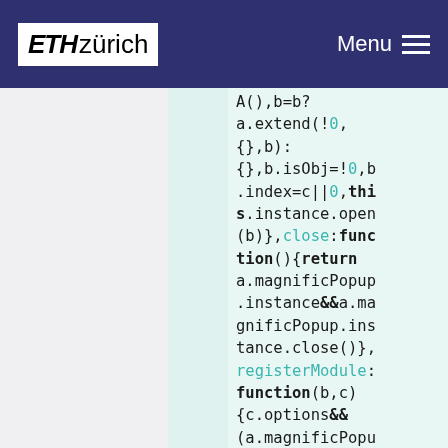ETH zürich  Menu
[Figure (screenshot): Code snippet showing JavaScript with keywords in bold and cyan-colored identifiers on a light green background]